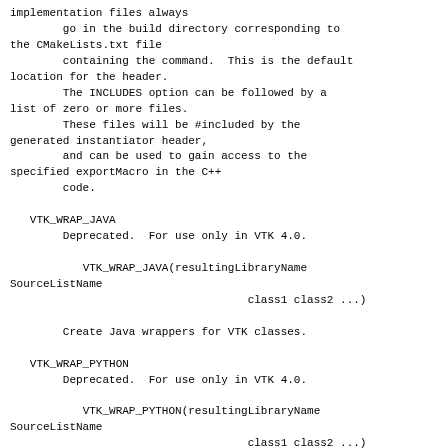implementation files always
        go in the build directory corresponding to the CMakeLists.txt file
        containing the command.  This is the default location for the header.
        The INCLUDES option can be followed by a list of zero or more files.
        These files will be #included by the generated instantiator header,
        and can be used to gain access to the specified exportMacro in the C++
        code.

   VTK_WRAP_JAVA
        Deprecated.  For use only in VTK 4.0.

           VTK_WRAP_JAVA(resultingLibraryName SourceListName
                                    class1 class2 ...)

        Create Java wrappers for VTK classes.

   VTK_WRAP_PYTHON
        Deprecated.  For use only in VTK 4.0.

           VTK_WRAP_PYTHON(resultingLibraryName SourceListName
                                    class1 class2 ...)

        Create Python wrappers for VTK classes.

   VTK_WRAP_TCL